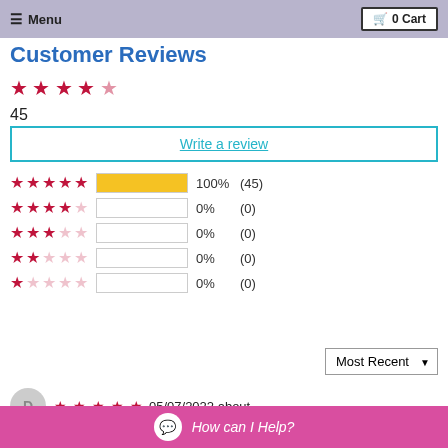Menu | 0 Cart
Customer Reviews
45
Write a review
[Figure (infographic): Star rating breakdown: 5 stars 100% (45), 4 stars 0% (0), 3 stars 0% (0), 2 stars 0% (0), 1 star 0% (0)]
Most Recent
05/07/2022 about
How can I Help?